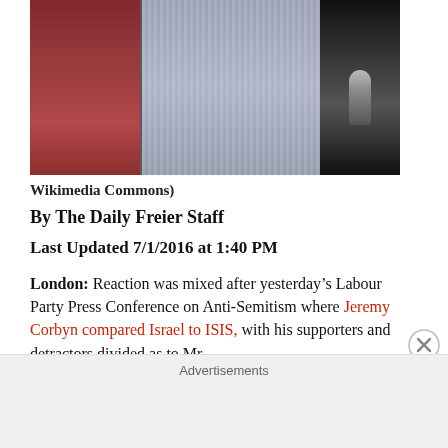[Figure (photo): Partial photo showing two people, one in a red vest/jacket on the left and another in a grey checked shirt in the center, with a microphone visible on the right against a dark background.]
Wikimedia Commons)
By The Daily Freier Staff
Last Updated 7/1/2016 at 1:40 PM
London: Reaction was mixed after yesterday’s Labour Party Press Conference on Anti-Semitism where Jeremy Corbyn compared Israel to ISIS, with his supporters and detractors divided as to Mr.
Advertisements